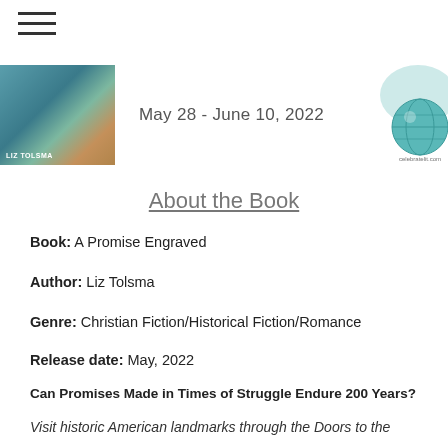[Figure (other): Hamburger menu icon (three horizontal lines) in top-left corner]
[Figure (other): Banner image showing a book cover on the left, the date 'May 28 - June 10, 2022' in the center, and a celebratelit.com globe logo on the right]
About the Book
Book: A Promise Engraved
Author: Liz Tolsma
Genre: Christian Fiction/Historical Fiction/Romance
Release date: May, 2022
Can Promises Made in Times of Struggle Endure 200 Years?
Visit historic American landmarks through the Doors to the